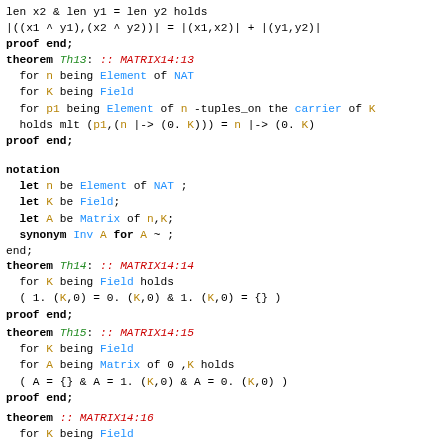len x2 & len y1 = len y2 holds
|((x1 ^ y1),(x2 ^ y2))| = |(x1,x2)| + |(y1,y2)|
proof end;
theorem Th13: :: MATRIX14:13
  for n being Element of NAT
  for K being Field
  for p1 being Element of n -tuples_on the carrier of K
  holds mlt (p1,(n |-> (0. K))) = n |-> (0. K)
proof end;
notation
  let n be Element of NAT ;
  let K be Field;
  let A be Matrix of n,K;
  synonym Inv A for A ~ ;
end;
theorem Th14: :: MATRIX14:14
  for K being Field holds
  ( 1. (K,0) = 0. (K,0) & 1. (K,0) = {} )
proof end;
theorem Th15: :: MATRIX14:15
  for K being Field
  for A being Matrix of 0 ,K holds
  ( A = {} & A = 1. (K,0) & A = 0. (K,0) )
proof end;
theorem :: MATRIX14:16
  for K being Field